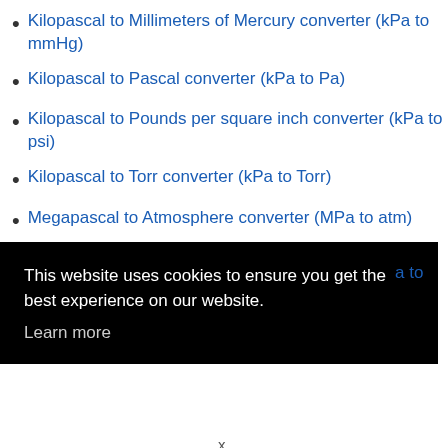Kilopascal to Millimeters of Mercury converter (kPa to mmHg)
Kilopascal to Pascal converter (kPa to Pa)
Kilopascal to Pounds per square inch converter (kPa to psi)
Kilopascal to Torr converter (kPa to Torr)
Megapascal to Atmosphere converter (MPa to atm)
Megapascal to Bar converter (MPa to bar)
This website uses cookies to ensure you get the best experience on our website. Learn more
a to
x